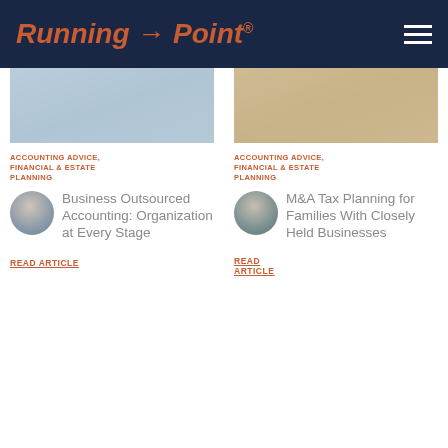Running → Point®
[Figure (photo): Article thumbnail image - desk with papers, left column]
[Figure (photo): Article thumbnail image - wooden desk surface, right column]
ACCOUNTING ADVICE, FINANCIAL & ESTATE PLANNING
ACCOUNTING ADVICE, FINANCIAL & ESTATE PLANNING
[Figure (photo): Author headshot - older man in blazer]
Business Outsourced Accounting: Organization at Every Stage
READ ARTICLE
[Figure (photo): Author headshot - younger man in suit]
M&A Tax Planning for Families With Closely Held Businesses
READ ARTICLE